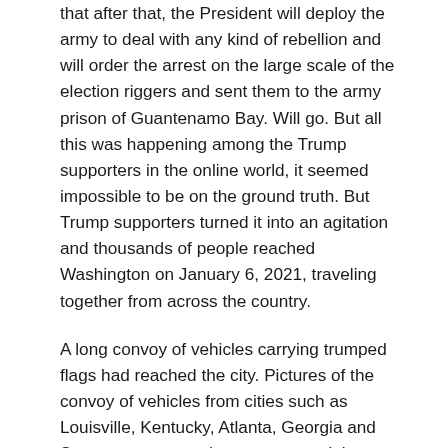that after that, the President will deploy the army to deal with any kind of rebellion and will order the arrest on the large scale of the election riggers and sent them to the army prison of Guantenamo Bay. Will go. But all this was happening among the Trump supporters in the online world, it seemed impossible to be on the ground truth. But Trump supporters turned it into an agitation and thousands of people reached Washington on January 6, 2021, traveling together from across the country.
A long convoy of vehicles carrying trumped flags had reached the city. Pictures of the convoy of vehicles from cities such as Louisville, Kentucky, Atlanta, Georgia and Sacramento were also seen on social platforms. "We are on the way," one person tweeted, posting a picture with about two dozen supporters. A man in the Ikea parking lot of North Carolina was posting photos of his